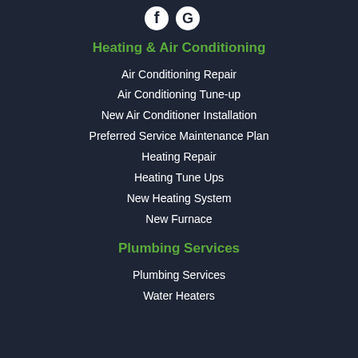[Figure (logo): Facebook and Google logo icons in white at top center]
Heating & Air Conditioning
Air Conditioning Repair
Air Conditioning Tune-up
New Air Conditioner Installation
Preferred Service Maintenance Plan
Heating Repair
Heating Tune Ups
New Heating System
New Furnace
Plumbing Services
Plumbing Services
Water Heaters